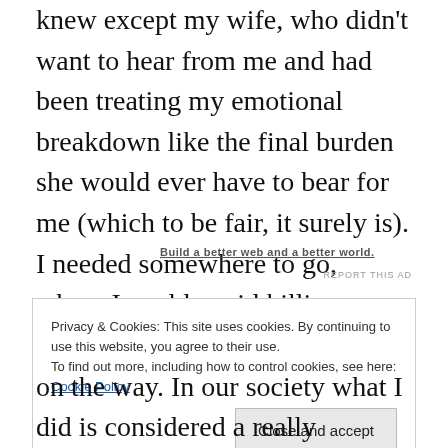knew except my wife, who didn't want to hear from me and had been treating my emotional breakdown like the final burden she would ever have to bear for me (which to be fair, it surely is). I needed somewhere to go, where I could avoid killing myself or throwing away three years of sobriety. I needed a place where I could see someone besides my friends, whose pity had already worn thin and had begun to provoke my anger.
Build a better web and a better world.
REPORT THIS AD
Privacy & Cookies: This site uses cookies. By continuing to use this website, you agree to their use.
To find out more, including how to control cookies, see here: Cookie Policy
Close and accept
on the way. In our society what I did is considered a really